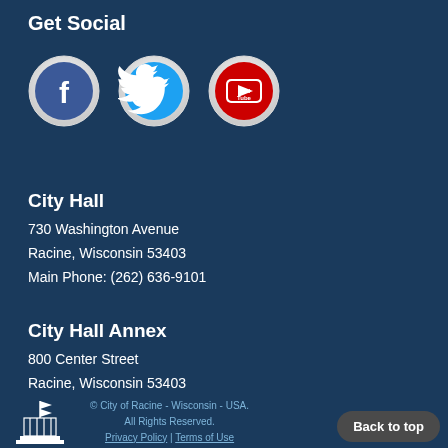Get Social
[Figure (illustration): Three social media icon buttons: Facebook (blue circle with white f), Twitter (blue circle with white bird), YouTube (red/white circle with YouTube logo)]
City Hall
730 Washington Avenue
Racine, Wisconsin 53403
Main Phone: (262) 636-9101
City Hall Annex
800 Center Street
Racine, Wisconsin 53403
Visit Department Directory
© City of Racine - Wisconsin - USA. All Rights Reserved. Privacy Policy | Terms of Use